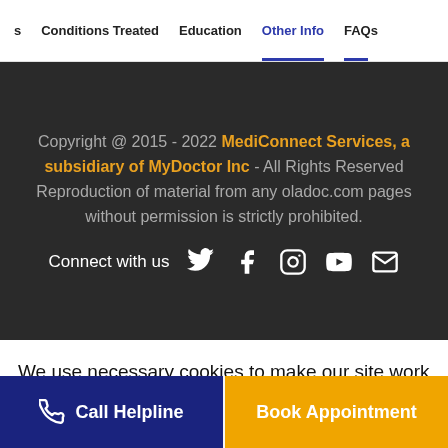s   Conditions Treated   Education   Other Info   FAQs
Copyright @ 2015 - 2022 MediConnect Services, a subsidiary of MyDoctor Inc - All Rights Reserved
Reproduction of material from any oladoc.com pages without permission is strictly prohibited.
Connect with us
We use necessary cookies to make our site work for you. By using our site, you acknowledge that you have understood our Cookie Policy  OK
Call Helpline   Book Appointment